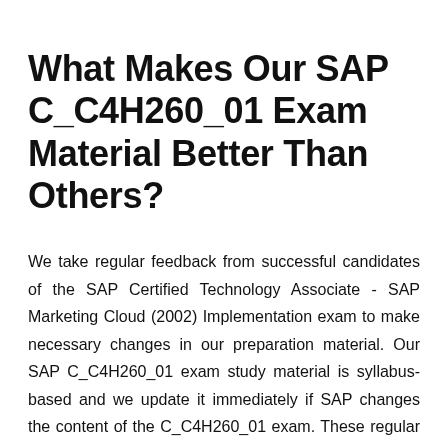What Makes Our SAP C_C4H260_01 Exam Material Better Than Others?
We take regular feedback from successful candidates of the SAP Certified Technology Associate - SAP Marketing Cloud (2002) Implementation exam to make necessary changes in our preparation material. Our SAP C_C4H260_01 exam study material is syllabus-based and we update it immediately if SAP changes the content of the C_C4H260_01 exam. These regular updates make our SAP C_C4H260_01 practice questions more effective and result-oriented. To meet the learning needs of every candidate, we